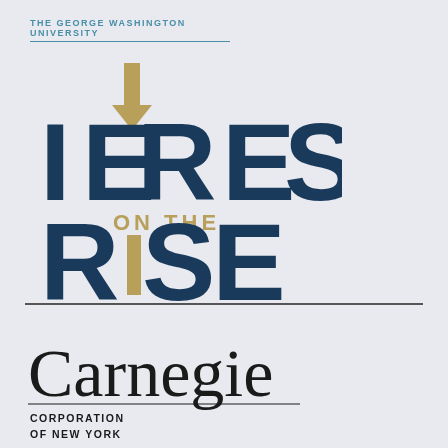THE GEORGE WASHINGTON UNIVERSITY
[Figure (logo): IERES ON THE RISE logo with upward gold arrow integrated into text, dark navy blue bold letters, gold accent text 'ON THE' in the middle]
[Figure (logo): Carnegie Corporation of New York logo with handwritten script 'Carnegie' in cursive, underlined, with block text 'CORPORATION OF NEW YORK' below]